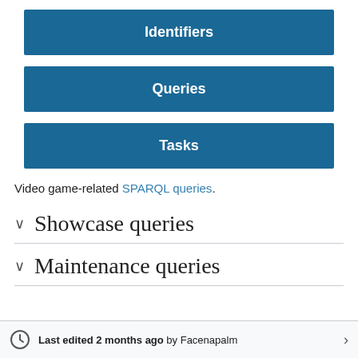Identifiers
Queries
Tasks
Video game-related SPARQL queries.
Showcase queries
Maintenance queries
Last edited 2 months ago by Facenapalm